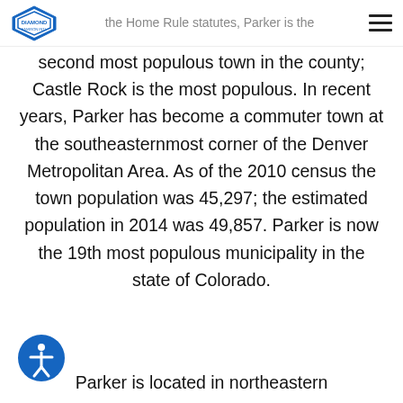the Home Rule statutes, Parker is the
second most populous town in the county; Castle Rock is the most populous. In recent years, Parker has become a commuter town at the southeasternmost corner of the Denver Metropolitan Area. As of the 2010 census the town population was 45,297; the estimated population in 2014 was 49,857. Parker is now the 19th most populous municipality in the state of Colorado.
Parker is located in northeastern